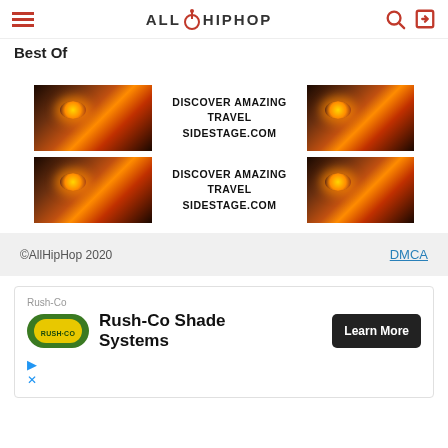AllHipHop
Best Of
[Figure (infographic): Advertisement banner: sunset/landscape photo on left, text 'DISCOVER AMAZING TRAVEL SIDESTAGE.COM' in center, sunset photo on right]
[Figure (infographic): Advertisement banner: sunset/landscape photo on left, text 'DISCOVER AMAZING TRAVEL SIDESTAGE.COM' in center, sunset photo on right]
©AllHipHop 2020   DMCA
[Figure (infographic): Rush-Co advertisement: Rush-Co Shade Systems with Learn More button]